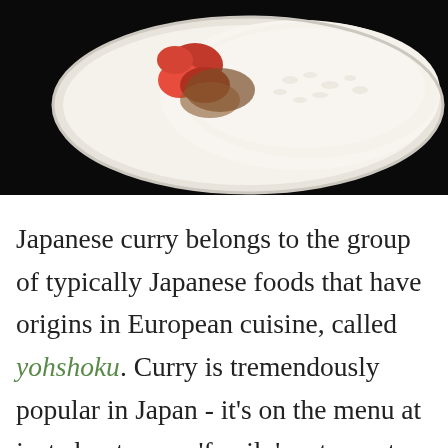[Figure (photo): A plate of Japanese curry with white rice and red/orange curry sauce with vegetables, served on a white plate against a dark background]
Japanese curry belongs to the group of typically Japanese foods that have origins in European cuisine, called yohshoku. Curry is tremendously popular in Japan - it's on the menu at just about every 'family' restaurant and department store restaurants, and there are curry-only restaurants as